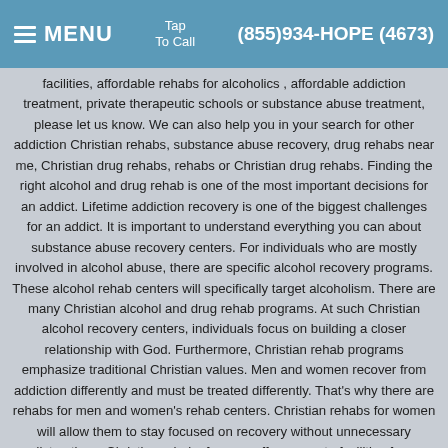MENU  Tap To Call  (855)934-HOPE (4673)
facilities, affordable rehabs for alcoholics , affordable addiction treatment, private therapeutic schools or substance abuse treatment, please let us know. We can also help you in your search for other addiction Christian rehabs, substance abuse recovery, drug rehabs near me, Christian drug rehabs, rehabs or Christian drug rehabs. Finding the right alcohol and drug rehab is one of the most important decisions for an addict. Lifetime addiction recovery is one of the biggest challenges for an addict. It is important to understand everything you can about substance abuse recovery centers. For individuals who are mostly involved in alcohol abuse, there are specific alcohol recovery programs. These alcohol rehab centers will specifically target alcoholism. There are many Christian alcohol and drug rehab programs. At such Christian alcohol recovery centers, individuals focus on building a closer relationship with God. Furthermore, Christian rehab programs emphasize traditional Christian values. Men and women recover from addiction differently and must be treated differently. That's why there are rehabs for men and women's rehab centers. Christian rehabs for women will allow them to stay focused on recovery without unnecessary distractions. Christian rehabs for men offer separate facilities from Christian rehabs for women. Whether looking for an alcohol rehab or a Christian drug recovery center near you, seek out the program which best suits your needs, whether or not they take insurance.
Matt